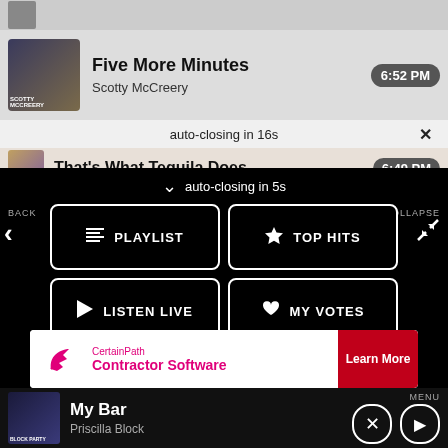[Figure (screenshot): Partially visible song row at top with thumbnail]
Five More Minutes
Scotty McCreery
6:52 PM
auto-closing in 16s
That's What Tequila Does
6:49 PM
auto-closing in 5s
BACK
COLLAPSE
PLAYLIST
TOP HITS
LISTEN LIVE
MY VOTES
CONTROLS
Data opt-out
[Figure (screenshot): CertainPath Contractor Software ad banner with Learn More button]
My Bar
Priscilla Block
MENU
BLOCK PARTY